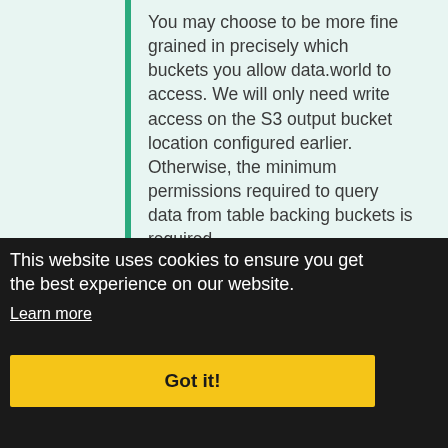You may choose to be more fine grained in precisely which buckets you allow data.world to access. We will only need write access on the S3 output bucket location configured earlier. Otherwise, the minimum permissions required to query data from table backing buckets is required.
This website uses cookies to ensure you get the best experience on our website.
Learn more
Got it!
Use alphanumeric and '-,_,@,' characters. Maximum 64 characters.